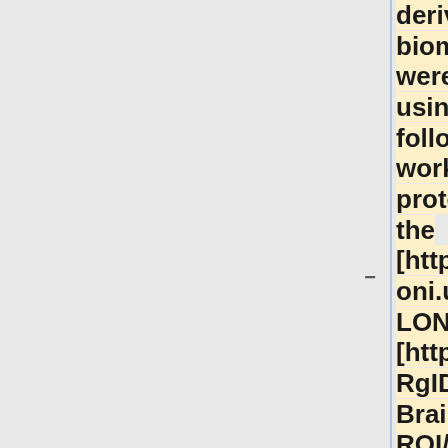derived biomarkers" were computed using the following workflow protocols via the [http://pipeline.loni.ucla.edu LONI Pipeline]: [http://ucla.in/mRgID3 BrainParser (56 ROI/Structures)], [http://ucla.in/ovqgHZ Automated ROI Extraction/Volume Calculation], and [http://ucla.in/rl